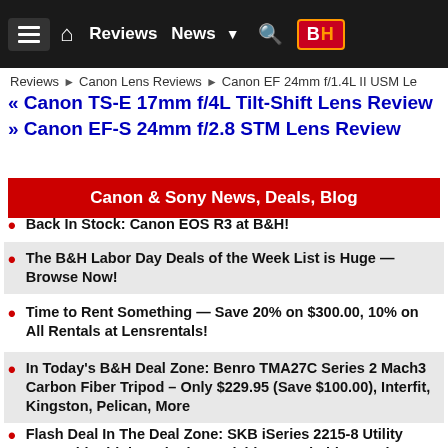Reviews ► Canon Lens Reviews ► Canon EF 24mm f/1.4L II USM Le
« Canon TS-E 17mm f/4L Tilt-Shift Lens Review
» Canon EF-S 24mm f/2.8 STM Lens Review
Canon & Sony News, Deals, Blog
Back In Stock: Canon EOS R3 at B&H!
The B&H Labor Day Deals of the Week List is Huge — Browse Now!
Time to Rent Something — Save 20% on $300.00, 10% on All Rentals at Lensrentals!
In Today's B&H Deal Zone: Benro TMA27C Series 2 Mach3 Carbon Fiber Tripod – Only $229.95 (Save $100.00), Interfit, Kingston, Pelican, More
Flash Deal In The Deal Zone: SKB iSeries 2215-8 Utility Case with Think Tank Photo Dividers, and Lid Organizer (Black) – Only $269.00 (Save $115.00)